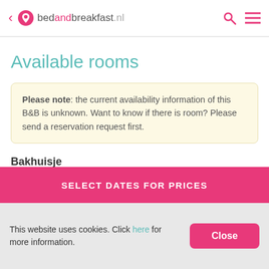< bedandbreakfast.nl
Available rooms
Please note: the current availability information of this B&B is unknown. Want to know if there is room? Please send a reservation request first.
Bakhuisje
SELECT DATES FOR PRICES
This website uses cookies. Click here for more information.